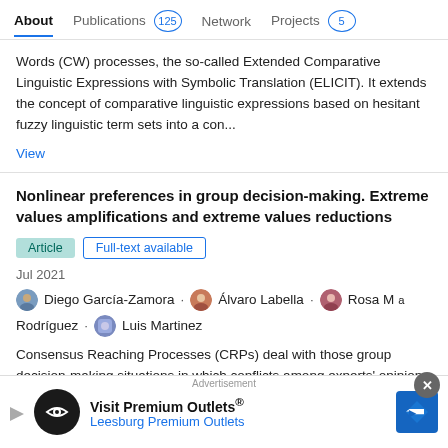About | Publications 125 | Network | Projects 5
Words (CW) processes, the so-called Extended Comparative Linguistic Expressions with Symbolic Translation (ELICIT). It extends the concept of comparative linguistic expressions based on hesitant fuzzy linguistic term sets into a con...
View
Nonlinear preferences in group decision-making. Extreme values amplifications and extreme values reductions
Article | Full-text available
Jul 2021
Diego García-Zamora · Álvaro Labella · Rosa Mª Rodríguez · Luis Martinez
Consensus Reaching Processes (CRPs) deal with those group decision-making situations in which conflicts among experts' opinions make difficult the reaching of an agreed solution. This
Advertisement
Visit Premium Outlets®
Leesburg Premium Outlets